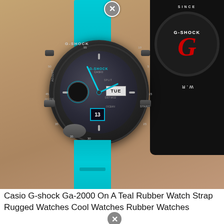[Figure (photo): Casio G-Shock GA-2000 watch with a teal/cyan rubber strap displayed against a tan background, with the black G-Shock box visible in the upper right corner. The watch face is dark with cyan hands and accents. A close/dismiss button (circled X) appears at the top center and bottom center of the image.]
Casio G-shock Ga-2000 On A Teal Rubber Watch Strap Rugged Watches Cool Watches Rubber Watches